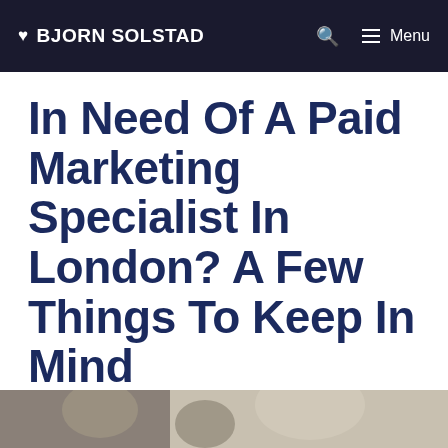♥ BJORN SOLSTAD   🔍   ☰ Menu
In Need Of A Paid Marketing Specialist In London? A Few Things To Keep In Mind
[Figure (photo): Partial view of a photo at the bottom of the page, showing blurred figures]